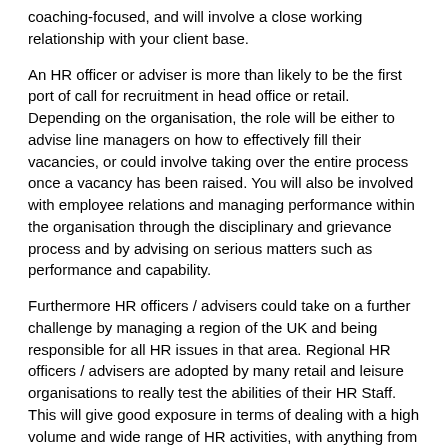coaching-focused, and will involve a close working relationship with your client base.
An HR officer or adviser is more than likely to be the first port of call for recruitment in head office or retail. Depending on the organisation, the role will be either to advise line managers on how to effectively fill their vacancies, or could involve taking over the entire process once a vacancy has been raised. You will also be involved with employee relations and managing performance within the organisation through the disciplinary and grievance process and by advising on serious matters such as performance and capability.
Furthermore HR officers / advisers could take on a further challenge by managing a region of the UK and being responsible for all HR issues in that area. Regional HR officers / advisers are adopted by many retail and leisure organisations to really test the abilities of their HR Staff. This will give good exposure in terms of dealing with a high volume and wide range of HR activities, with anything from potential redundancies to high volume recruitment.
What are the duties of an HR manager?